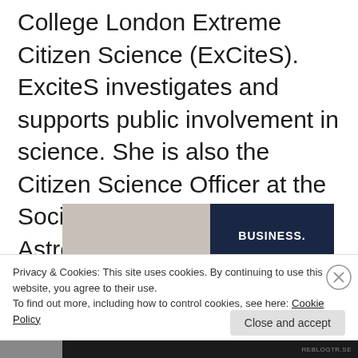College London Extreme Citizen Science (ExCiteS). ExciteS investigates and supports public involvement in science. She is also the Citizen Science Officer at the Society for Popular Astronomy.
[Figure (photo): Advertisement banner image split into two sections: left shows a hand holding something over a gray-beige background, right shows dark navy blue background with white bold text reading 'BUSINESS.']
Privacy & Cookies: This site uses cookies. By continuing to use this website, you agree to their use.
To find out more, including how to control cookies, see here: Cookie Policy